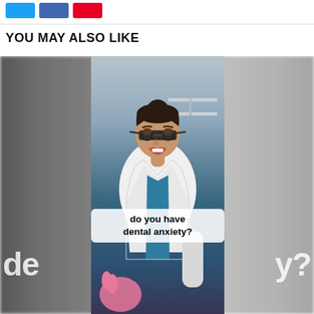[Social share buttons: Twitter, Facebook, Pinterest]
YOU MAY ALSO LIKE
[Figure (screenshot): Screenshot of a social media video showing a female dentist or dental professional wearing a white coat, teal scrubs, and dental loupes (magnifying glasses). She appears to be speaking. A subtitle overlay reads 'do you have dental anxiety?' in a white rounded rectangle. In the blurred background on either side, large bold text partially reads 'de...' on the left and 'y?' on the right, forming 'dental anxiety?'.]